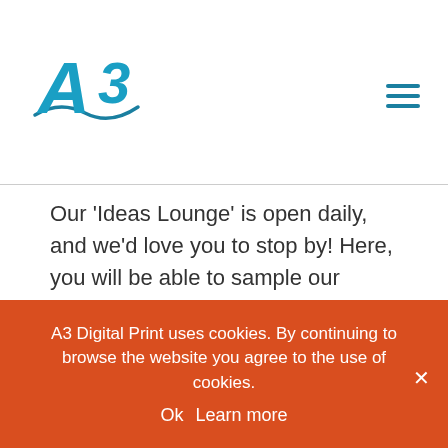[Figure (logo): A3 Digital Print logo with teal/blue stylized A3 letter and wave swoosh]
Our 'Ideas Lounge' is open daily, and we'd love you to stop by! Here, you will be able to sample our various print projects and take a look at our wide range of paper stocks as well as the various textures and Pantone colours available for brochures and lookbooks! Contact us today to find out more.
July 30th, 2019
A3 Digital Print uses cookies. By continuing to browse the website you agree to the use of cookies.
Ok   Learn more